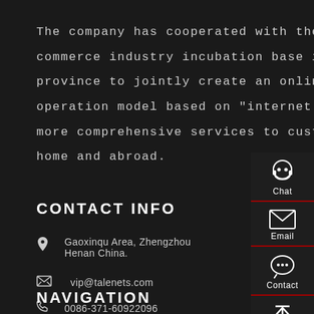The company has cooperated with the e-commerce industry incubation base in henan province to jointly create an online and offline operation model based on "internet +" to escort more comprehensive services to customers at home and abroad.
CONTACT INFO
Gaoxinqu Area, Zhengzhou Henan China.
vip@talenets.com
0086-371-60922096
NAVIGATION
[Figure (infographic): Right-side floating sidebar with four icons and labels: Chat (headset icon), Email (envelope icon), Contact (speech bubble icon), Top (upward arrow icon), separated by red horizontal lines.]